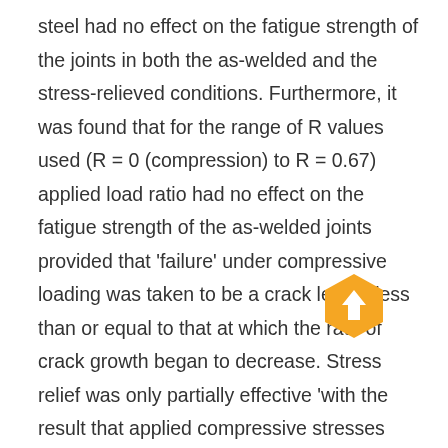steel had no effect on the fatigue strength of the joints in both the as-welded and the stress-relieved conditions. Furthermore, it was found that for the range of R values used (R = 0 (compression) to R = 0.67) applied load ratio had no effect on the fatigue strength of the as-welded joints provided that 'failure' under compressive loading was taken to be a crack length less than or equal to that at which the rate of crack growth began to decrease. Stress relief was only partially effective 'with the result that applied compressive stresses were still damaging. Th der partly compressive loading the fatigue strength of the joint increased but not greatly. However, stress relief